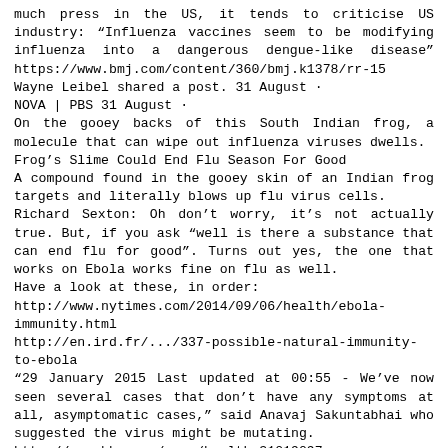much press in the US, it tends to criticise US industry: "Influenza vaccines seem to be modifying influenza into a dangerous dengue-like disease" https://www.bmj.com/content/360/bmj.k1378/rr-15
Wayne Leibel shared a post. 31 August ·
NOVA | PBS 31 August ·
On the gooey backs of this South Indian frog, a molecule that can wipe out influenza viruses dwells.
Frog's Slime Could End Flu Season For Good
A compound found in the gooey skin of an Indian frog targets and literally blows up flu virus cells.
Richard Sexton: Oh don't worry, it's not actually true. But, if you ask "well is there a substance that can end flu for good". Turns out yes, the one that works on Ebola works fine on flu as well.
Have a look at these, in order:
http://www.nytimes.com/2014/09/06/health/ebola-immunity.html
http://en.ird.fr/.../337-possible-natural-immunity-to-ebola
"29 January 2015 Last updated at 00:55 - We've now seen several cases that don't have any symptoms at all, asymptomatic cases," said Anavaj Sakuntabhai who suggested the virus might be mutating.
http://www.bbc.com/news/health-31019097
Wednesday, May 13, 2015 - Ebola Not Mutating,